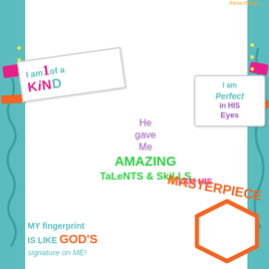[Figure (illustration): Colorful children's activity/poster page with teal border, decorative strips, and inspirational faith-based text labels about identity]
I am 1 of a KIND
I am Perfect in HIS Eyes
He gave Me AMAZING Talents & Skills
I AM HIS MASTERPIECE
MY fingerprint IS LIKE GOD'S signature on ME!